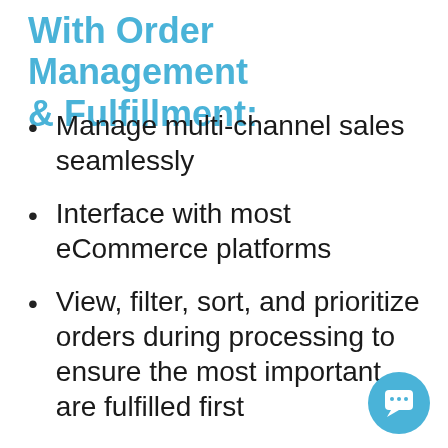With Order Management & Fulfillment:
Manage multi-channel sales seamlessly
Interface with most eCommerce platforms
View, filter, sort, and prioritize orders during processing to ensure the most important are fulfilled first
Use barcoding tools to make picking, packing, and tracking a pain-free